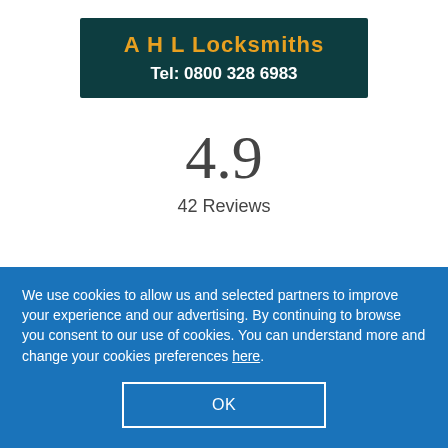[Figure (logo): AHL Locksmiths logo with dark teal background. Company name in orange bold text: 'A H L Locksmiths'. Below in white bold: 'Tel: 0800 328 6983'.]
4.9
42 Reviews
We use cookies to allow us and selected partners to improve your experience and our advertising. By continuing to browse you consent to our use of cookies. You can understand more and change your cookies preferences here.
OK